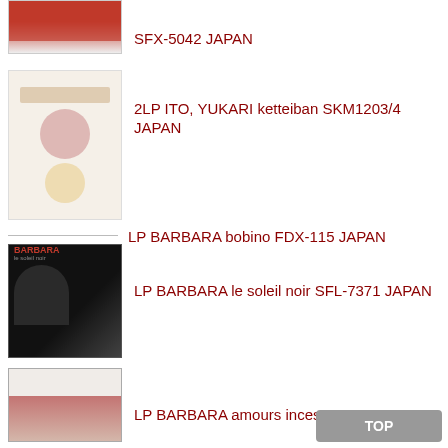[Figure (photo): Partial album cover image cut off at top, red dress visible]
SFX-5042 JAPAN
[Figure (photo): Album cover: Ito Yukari ketteiban, woman in white with colorful spheres, Japanese text]
2LP ITO, YUKARI ketteiban SKM1203/4 JAPAN
LP BARBARA bobino FDX-115 JAPAN
[Figure (photo): Album cover: BARBARA le soleil noir, close-up of woman's face with dramatic makeup]
LP BARBARA le soleil noir SFL-7371 JAPAN
[Figure (photo): Album cover: LP BARBARA amours incestueses, partial view at bottom of page]
LP BARBARA amours incestueses SFX-5077